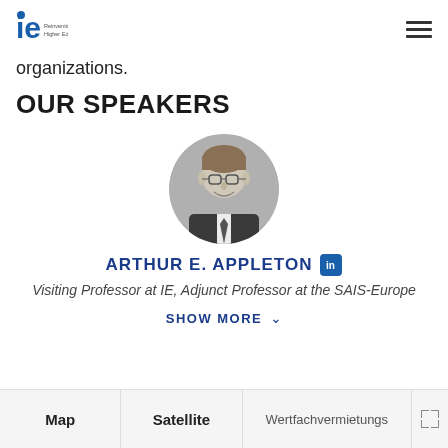ie Reinventing Higher Education
organizations.
OUR SPEAKERS
[Figure (photo): Circular black-and-white headshot photo of Arthur E. Appleton, a man with glasses wearing a suit and tie, smiling.]
ARTHUR E. APPLETON
Visiting Professor at IE, Adjunct Professor at the SAIS-Europe
SHOW MORE